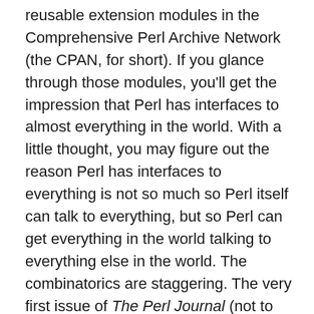reusable extension modules in the Comprehensive Perl Archive Network (the CPAN, for short). If you glance through those modules, you'll get the impression that Perl has interfaces to almost everything in the world. With a little thought, you may figure out the reason Perl has interfaces to everything is not so much so Perl itself can talk to everything, but so Perl can get everything in the world talking to everything else in the world. The combinatorics are staggering. The very first issue of The Perl Journal (not to be confused with Linux Journal) contained an article entitled “How Perl Saved the Human Genome Project”. It explains how all the different genome sequencing laboratories used different databases with different formats, and how Perl was used to massage the data into a cohesive whole.